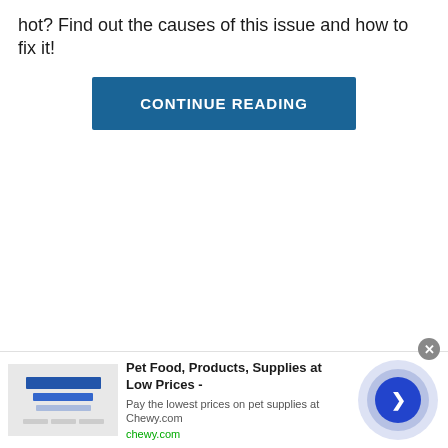hot? Find out the causes of this issue and how to fix it!
[Figure (other): Blue 'CONTINUE READING' button]
[Figure (other): Advertisement bar at the bottom: Pet Food, Products, Supplies at Low Prices - Pay the lowest prices on pet supplies at Chewy.com | chewy.com. Includes a close button (x), an ad image placeholder, and a circular arrow navigation button.]